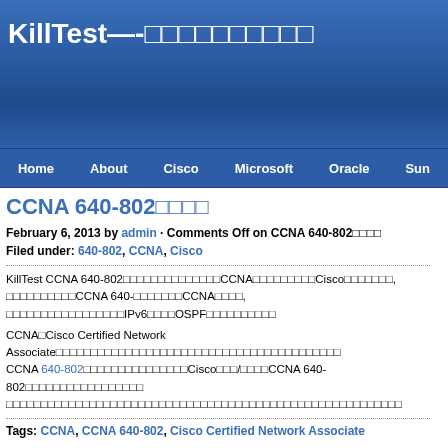KillTest—-□□□□□□□□□□
Home  About  Cisco  Microsoft  Oracle  Sun
CCNA 640-802□□□□
February 6, 2013 by admin · Comments Off on CCNA 640-802□□□□
Filed under: 640-802, CCNA, Cisco
KillTest CCNA 640-802□□□□□□□□□□□□□□CCNA□□□□□□□□□Cisco□□□□□□□, □□□□□□□□□□CCNA 640-□□□□□□□CCNA□□□□, □□□□□□□□□□□□□□□□□IPv6□□□□OSPF□□□□□□□□□□
CCNA□Cisco Certified Network Associate□□□□□□□□□□□□□□□□□□□□□□□□□□□□□□□□□□□□□□□□
CCNA 640-802□□□□□□□□□□□□□□□Cisco□□□/□□□□CCNA 640-802□□□□□□□□□□□□□□□□
□□□□□□□□□□□□□□□□□□□□□□□□□□□□□□□□□□□□□□□□□□□□□□□□□□□□□□□□
Tags: CCNA, CCNA 640-802, Cisco Certified Network Associate